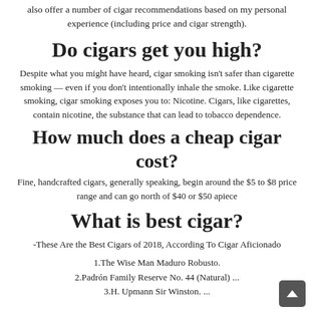also offer a number of cigar recommendations based on my personal experience (including price and cigar strength).
Do cigars get you high?
Despite what you might have heard, cigar smoking isn't safer than cigarette smoking — even if you don't intentionally inhale the smoke. Like cigarette smoking, cigar smoking exposes you to: Nicotine. Cigars, like cigarettes, contain nicotine, the substance that can lead to tobacco dependence.
How much does a cheap cigar cost?
Fine, handcrafted cigars, generally speaking, begin around the $5 to $8 price range and can go north of $40 or $50 apiece
What is best cigar?
-These Are the Best Cigars of 2018, According To Cigar Aficionado
1.The Wise Man Maduro Robusto.
2.Padrón Family Reserve No. 44 (Natural) ...
3.H. Upmann Sir Winston. ...